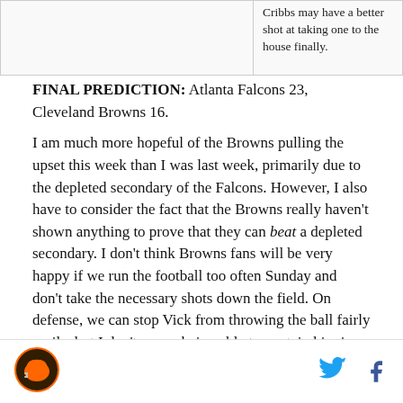Cribbs may have a better shot at taking one to the house finally.
FINAL PREDICTION: Atlanta Falcons 23, Cleveland Browns 16.
I am much more hopeful of the Browns pulling the upset this week than I was last week, primarily due to the depleted secondary of the Falcons. However, I also have to consider the fact that the Browns really haven't shown anything to prove that they can beat a depleted secondary. I don't think Browns fans will be very happy if we run the football too often Sunday and don't take the necessary shots down the field. On defense, we can stop Vick from throwing the ball fairly easily, but I don't see us being able to contain him in the pocket as often as we need to.
This is the official gameday thread for today's game.
[Figure (logo): Cleveland Browns helmet logo]